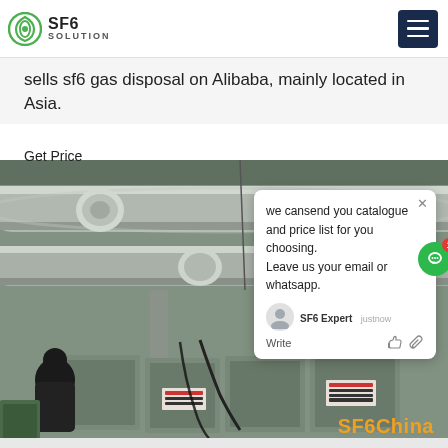SF6 SOLUTION
sells sf6 gas disposal on Alibaba, mainly located in Asia.
Get Price
[Figure (photo): Industrial SF6 gas equipment/pipes with large cylindrical metal pipes and electrical cabinets in a facility. A person is visible in the lower left.]
we cansend you catalogue and price list for you choosing. Leave us your email or whatsapp.
SF6 Expert   justnow
Write
SF6China